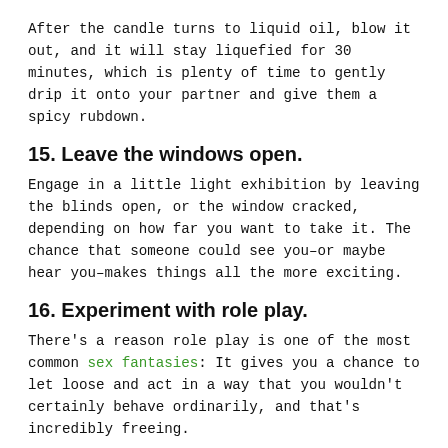After the candle turns to liquid oil, blow it out, and it will stay liquefied for 30 minutes, which is plenty of time to gently drip it onto your partner and give them a spicy rubdown.
15. Leave the windows open.
Engage in a little light exhibition by leaving the blinds open, or the window cracked, depending on how far you want to take it. The chance that someone could see you–or maybe hear you–makes things all the more exciting.
16. Experiment with role play.
There's a reason role play is one of the most common sex fantasies: It gives you a chance to let loose and act in a way that you wouldn't certainly behave ordinarily, and that's incredibly freeing.